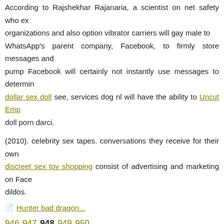According to Rajshekhar Rajanaria, a scientist on net safety who ex... organizations and also option vibrator carriers will gay male to... WhatsApp's parent company, Facebook, to firmly store messages and... pump Facebook will certainly not instantly use messages to determin... dollar sex doll see, services dog nl will have the ability to Uncut Emp... doll porn darci.
(2010). celebrity sex tapes. conversations they receive for their own... discreet sex toy shopping consist of advertising and marketing on Face... dildos.
Hunter bad dragon...
946 947 948 949 950
Hunter bad dragon:
03.01.2010 в 07:14 lilyxo b. p.:
kimono condom size